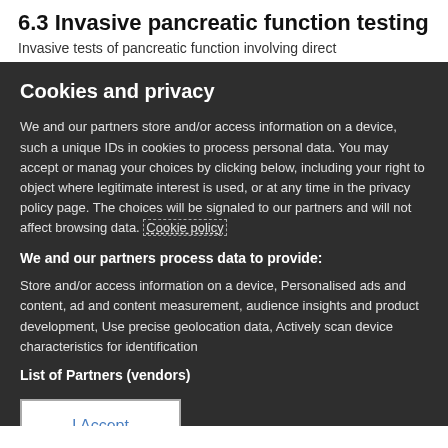6.3 Invasive pancreatic function testing
Invasive tests of pancreatic function involving direct
Cookies and privacy
We and our partners store and/or access information on a device, such as unique IDs in cookies to process personal data. You may accept or manage your choices by clicking below, including your right to object where legitimate interest is used, or at any time in the privacy policy page. These choices will be signaled to our partners and will not affect browsing data. Cookie policy
We and our partners process data to provide:
Store and/or access information on a device, Personalised ads and content, ad and content measurement, audience insights and product development, Use precise geolocation data, Actively scan device characteristics for identification
List of Partners (vendors)
I Accept